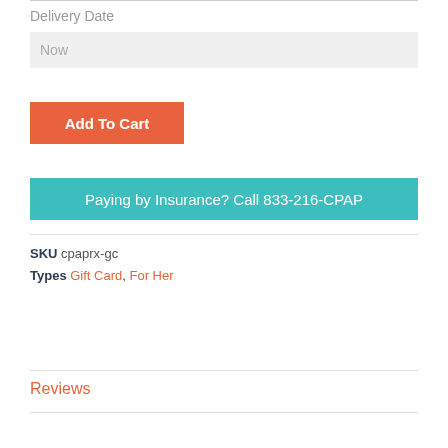Delivery Date
Now
Add To Cart
Paying by Insurance? Call 833-216-CPAP
SKU cpaprx-gc
Types Gift Card, For Her
Reviews